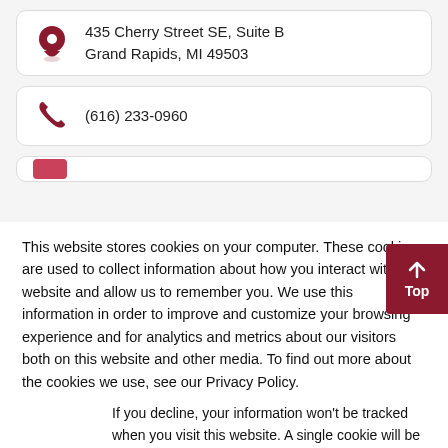435 Cherry Street SE, Suite B
Grand Rapids, MI 49503
(616) 233-0960
This website stores cookies on your computer. These cookies are used to collect information about how you interact with our website and allow us to remember you. We use this information in order to improve and customize your browsing experience and for analytics and metrics about our visitors both on this website and other media. To find out more about the cookies we use, see our Privacy Policy.
If you decline, your information won't be tracked when you visit this website. A single cookie will be used in your browser to remember your preference not to be tracked.
Accept
Decline